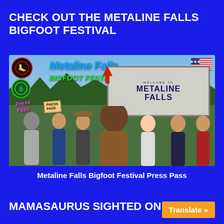CHECK OUT THE METALINE FALLS BIGFOOT FESTIVAL
[Figure (photo): Group photo at the Metaline Falls Bigfoot Festival 2021 with people posing in front of a Welcome to Metaline Falls sign, including someone dressed as Bigfoot. Overlaid text says 'Metaline Falls BIGFOOT FESTIVAL 2021' with logos and 'Press Pass' labels.]
Metaline Falls Bigfoot Festival Press Pass
MAMASAURUS SIGHTED ON AN
Translate »